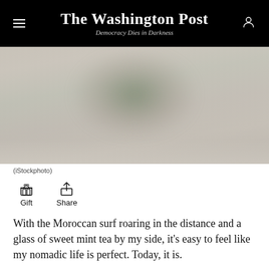The Washington Post — Democracy Dies in Darkness
[Figure (photo): Blurred close-up photo of a mint tea glass or similar beverage, soft focus, beige and green tones]
(iStockphoto)
[Figure (infographic): Gift and Share action buttons with icons]
With the Moroccan surf roaring in the distance and a glass of sweet mint tea by my side, it's easy to feel like my nomadic life is perfect. Today, it is.
The day my father died while I explored another city, however, was not.